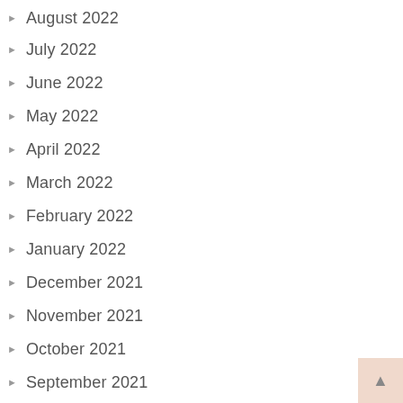August 2022
July 2022
June 2022
May 2022
April 2022
March 2022
February 2022
January 2022
December 2021
November 2021
October 2021
September 2021
August 2021